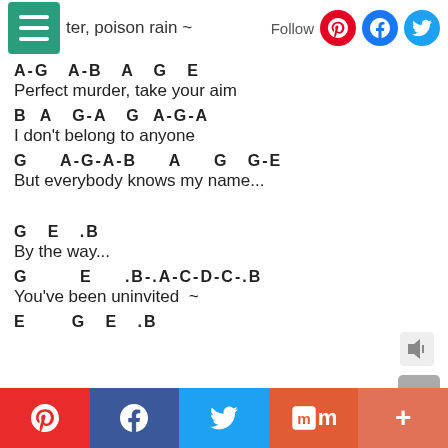D[menu]ter, poison rain ~ | Follow [Pinterest] [Facebook] [Twitter]
A-G   A-B   A   G   E
Perfect murder, take your aim
B   A   G-A   G  A-G-A
I don't belong to anyone
G     A-G-A-B     A     G   G-E
But everybody knows my name...
G   E   .B
By the way...
G       E     .B-.A-C-D-C-.B
You've been uninvited  ~
E       G   E   .B
[Pinterest] [Facebook] [Twitter] [Mix] [+]